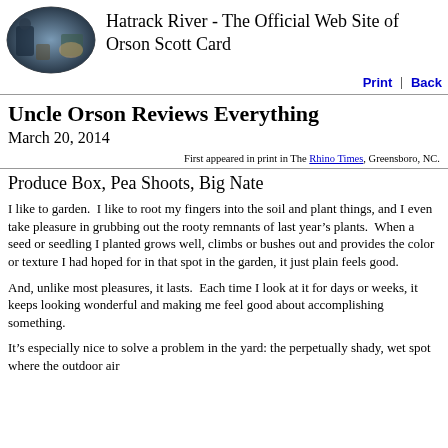Hatrack River - The Official Web Site of Orson Scott Card
Print | Back
Uncle Orson Reviews Everything
March 20, 2014
First appeared in print in The Rhino Times, Greensboro, NC.
Produce Box, Pea Shoots, Big Nate
I like to garden.  I like to root my fingers into the soil and plant things, and I even take pleasure in grubbing out the rooty remnants of last year’s plants.  When a seed or seedling I planted grows well, climbs or bushes out and provides the color or texture I had hoped for in that spot in the garden, it just plain feels good.
And, unlike most pleasures, it lasts.  Each time I look at it for days or weeks, it keeps looking wonderful and making me feel good about accomplishing something.
It’s especially nice to solve a problem in the yard: the perpetually shady, wet spot where the outdoor air